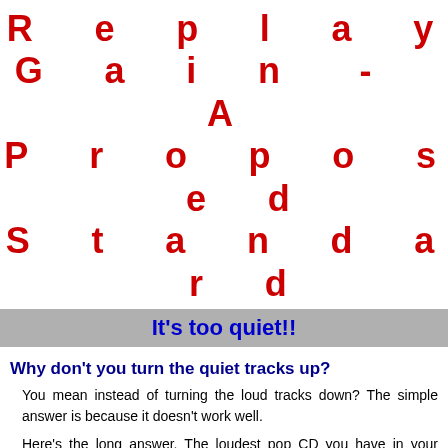Replay Gain - A Proposed Standard
It's too quiet!!
Why don't you turn the quiet tracks up?
You mean instead of turning the loud tracks down? The simple answer is because it doesn't work well.
Here's the long answer. The loudest pop CD you have in your collection has probably been heavily limited or compressed. What this means is that the signal has been processed to raise the average amplitude, which makes it sound louder. You can do this by turning the volume control up, but there's a limit to how far you can go before things distort. Distortion occurs when you try and store a larger sample (louder peak) than is possible on a CD. If you do this, the signal clips. A